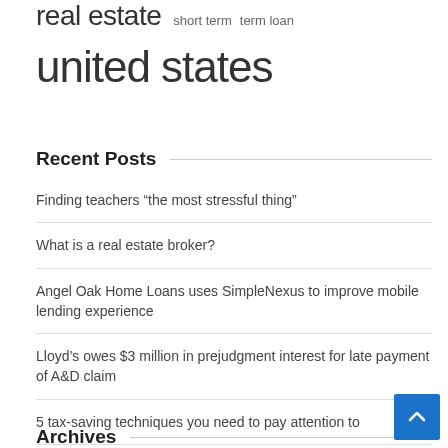real estate  short term  term loan
united states
Recent Posts
Finding teachers “the most stressful thing”
What is a real estate broker?
Angel Oak Home Loans uses SimpleNexus to improve mobile lending experience
Lloyd’s owes $3 million in prejudgment interest for late payment of A&D claim
5 tax-saving techniques you need to pay attention to
Archives